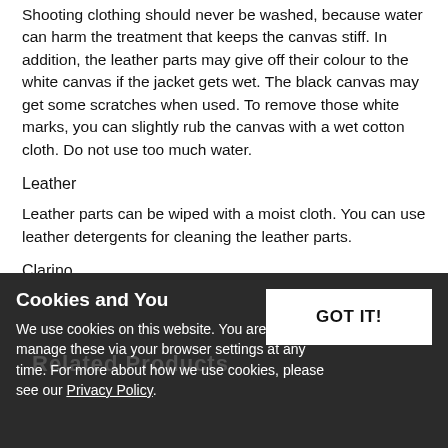Shooting clothing should never be washed, because water can harm the treatment that keeps the canvas stiff. In addition, the leather parts may give off their colour to the white canvas if the jacket gets wet. The black canvas may get some scratches when used. To remove those white marks, you can slightly rub the canvas with a wet cotton cloth. Do not use too much water.
Leather
Leather parts can be wiped with a moist cloth. You can use leather detergents for cleaning the leather parts.
Clarino
(Material on left front that looks like suede) Clarino is artificial material and suede detergents are not suitable for cleaning it. Never apply suede detergent on clarino! You can try to clean clarino parts only with detergents meant for normal clothes.
[Figure (screenshot): Cookie consent banner overlay with dark background. Title: 'Cookies and You', body text about cookie usage, a 'GOT IT!' button, and partially visible 'Related Products' text and image in background.]